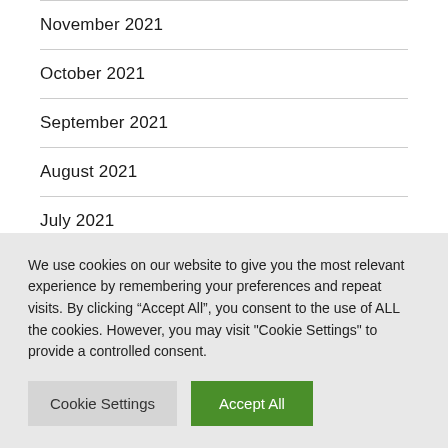November 2021
October 2021
September 2021
August 2021
July 2021
We use cookies on our website to give you the most relevant experience by remembering your preferences and repeat visits. By clicking “Accept All”, you consent to the use of ALL the cookies. However, you may visit "Cookie Settings" to provide a controlled consent.